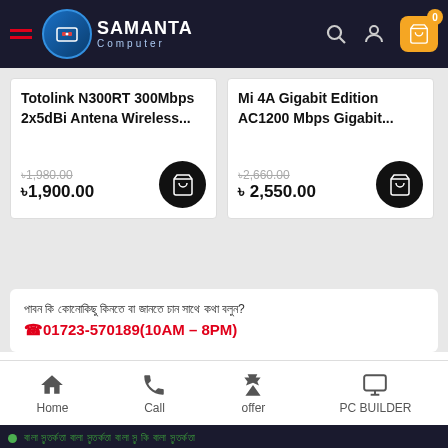Samanta Computer - navigation header with hamburger menu, logo, search, account, and cart icons
Totolink N300RT 300Mbps 2x5dBi Antena Wireless...
৳1,980.00 (strikethrough) ৳1,900.00
Mi 4A Gigabit Edition AC1200 Mbps Gigabit...
৳2,660.00 (strikethrough) ৳2,550.00
আপনি কি কোনোকিছু কিনতে বা জানতে চান আমাদের সাথে কথা বলুন?
☎01723-570189(10AM – 8PM)
Home | Call | offer | PC BUILDER